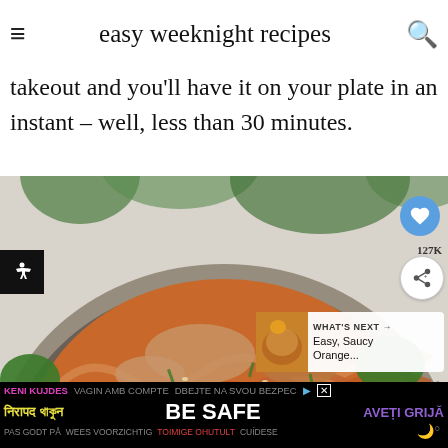easy weeknight recipes
takeout and you'll have it on your plate in an instant – well, less than 30 minutes.
[Figure (photo): Close-up photo of a bowl of pasta dish with orange-red sauce, chicken, broccoli and herbs, on a light background. Social sharing buttons visible on the right side and a 'What's Next' panel showing 'Easy, Saucy Orange...' recipe thumbnail.]
[Figure (screenshot): Advertisement banner at the bottom with multilingual safety messages: 'KENI KUJDES', 'VAGIN AMB COMPTE', 'DBEJTE NA SVOU BEZPEC', 'नरिापद थाकून', 'BE SAFE', 'AVEȚI GRIJĂ', 'PAS GODT PÅ', 'WEES VOORZICHTIG', 'TOIMIGE OHUTULT', 'CUÍDESE' on black background.]